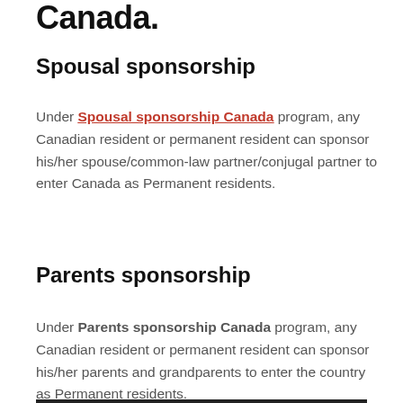Canada.
Spousal sponsorship
Under Spousal sponsorship Canada program, any Canadian resident or permanent resident can sponsor his/her spouse/common-law partner/conjugal partner to enter Canada as Permanent residents.
Parents sponsorship
Under Parents sponsorship Canada program, any Canadian resident or permanent resident can sponsor his/her parents and grandparents to enter the country as Permanent residents.